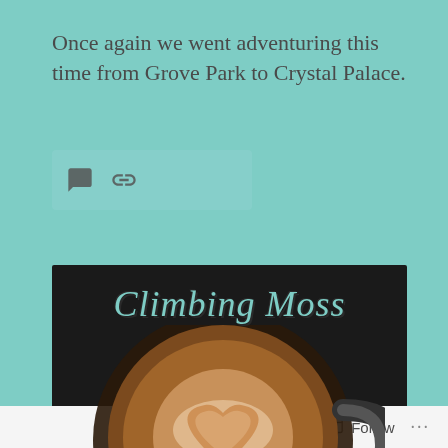Once again we went adventuring this time from Grove Park to Crystal Palace.
[Figure (screenshot): Blog post card with icons for comment and link/share actions on a teal background]
[Figure (illustration): Climbing Moss Coffee blog logo image: dark background with a coffee cup latte art and text 'Climbing Moss' in cursive teal script and 'Coffee' in large bold white text with teal outline]
Follow ...